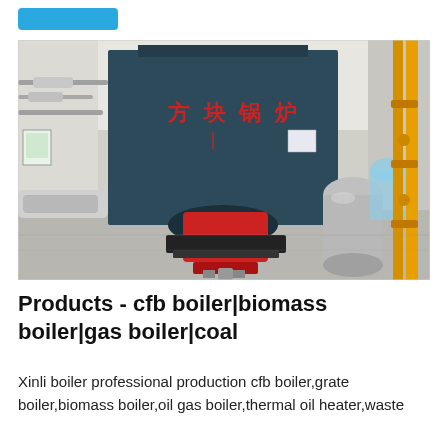[Figure (photo): Industrial boiler room with a large dark blue boiler unit labeled in Chinese characters (方块锅炉), a red burner unit at the front, silver cylindrical tanks on the right, yellow gas pipes on the far right, and various piping and industrial equipment throughout a white-walled facility.]
Products - cfb boiler|biomass boiler|gas boiler|coal
Xinli boiler professional production cfb boiler,grate boiler,biomass boiler,oil gas boiler,thermal oil heater,waste heat recovery boiler,etc